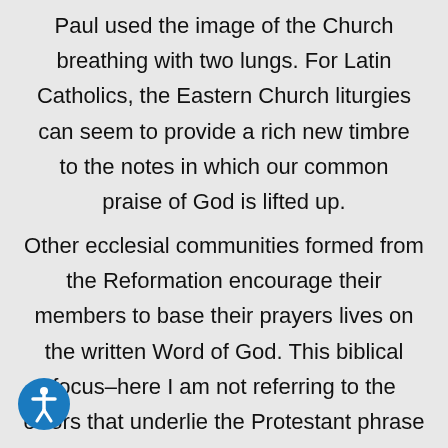Paul used the image of the Church breathing with two lungs. For Latin Catholics, the Eastern Church liturgies can seem to provide a rich new timbre to the notes in which our common praise of God is lifted up.
Other ecclesial communities formed from the Reformation encourage their members to base their prayers lives on the written Word of God. This biblical focus–here I am not referring to the errors that underlie the Protestant phrase sola scriptura–is perhaps more intense outside of the visible confines of the Catholic Church. The Church plays the right note, but other communities give it more volume.